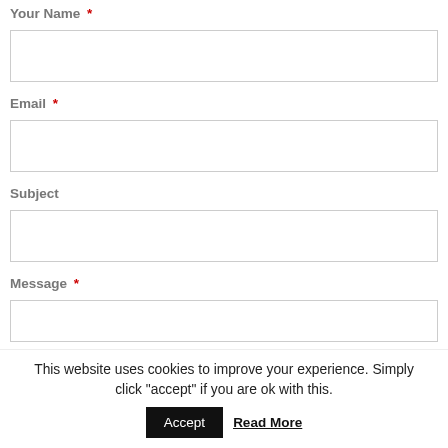Your Name *
[Figure (other): Text input field for Your Name]
Email *
[Figure (other): Text input field for Email]
Subject
[Figure (other): Text input field for Subject]
Message *
[Figure (other): Text area input field for Message]
This website uses cookies to improve your experience. Simply click "accept" if you are ok with this.
Accept
Read More